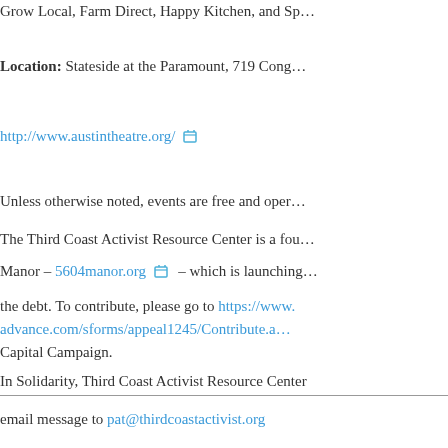Grow Local, Farm Direct, Happy Kitchen, and Sp…
Location: Stateside at the Paramount, 719 Cong…
http://www.austintheatre.org/
Unless otherwise noted, events are free and oper…
The Third Coast Activist Resource Center is a fou…
Manor – 5604manor.org – which is launching…
the debt. To contribute, please go to https://www.advance.com/sforms/appeal1245/Contribute.a…
Capital Campaign.
In Solidarity, Third Coast Activist Resource Center
email message to pat@thirdcoastactivist.org
Uncategorized
Jim Rigby, Third Coast Activists